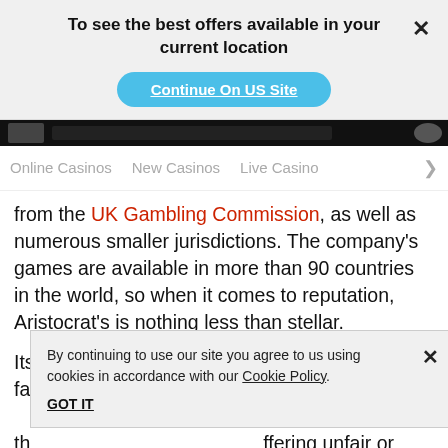To see the best offers available in your current location
Continue On US Site
Online Casinos   New Casinos   Live Casino
from the UK Gambling Commission, as well as numerous smaller jurisdictions. The company's games are available in more than 90 countries in the world, so when it comes to reputation, Aristocrat's is nothing less than stellar.

Its games are safe and regularly tested for fairness by le... s a major provider th... ffering unfair or u... ubt its tr...
By continuing to use our site you agree to us using cookies in accordance with our Cookie Policy. GOT IT